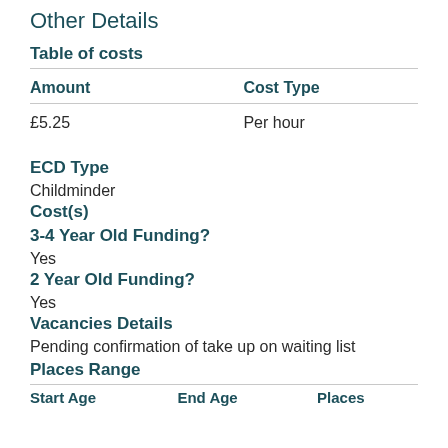Other Details
Table of costs
| Amount | Cost Type |
| --- | --- |
| £5.25 | Per hour |
ECD Type
Childminder
Cost(s)
3-4 Year Old Funding?
Yes
2 Year Old Funding?
Yes
Vacancies Details
Pending confirmation of take up on waiting list
Places Range
| Start Age | End Age | Places |
| --- | --- | --- |